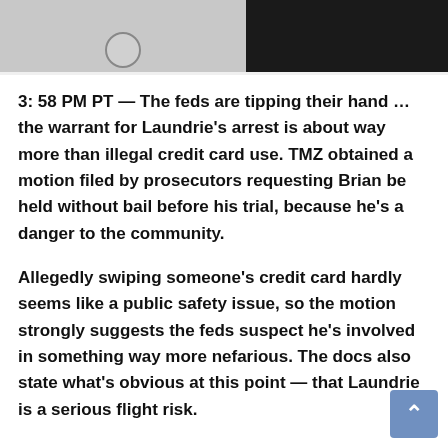[Figure (photo): Partial photo strip at top showing two people — left side appears to be someone in a white shirt, right side shows a dark background with blonde hair visible]
3: 58 PM PT — The feds are tipping their hand … the warrant for Laundrie's arrest is about way more than illegal credit card use. TMZ obtained a motion filed by prosecutors requesting Brian be held without bail before his trial, because he's a danger to the community.
Allegedly swiping someone's credit card hardly seems like a public safety issue, so the motion strongly suggests the feds suspect he's involved in something way more nefarious. The docs also state what's obvious at this point — that Laundrie is a serious flight risk.